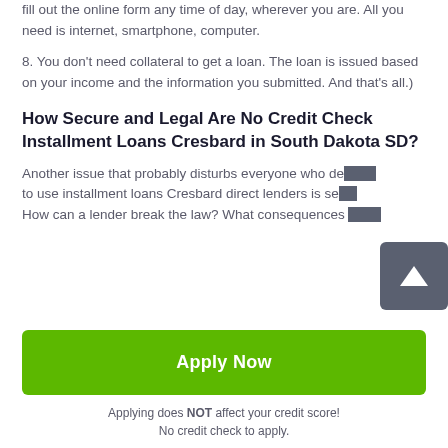fill out the online form any time of day, wherever you are. All you need is internet, smartphone, computer.
8. You don't need collateral to get a loan. The loan is issued based on your income and the information you submitted. And that's all.)
How Secure and Legal Are No Credit Check Installment Loans Cresbard in South Dakota SD?
Another issue that probably disturbs everyone who decided to use installment loans Cresbard direct lenders is security. How can a lender break the law? What consequences could they suffer from their behavior?
[Figure (other): Gray scroll-to-top button with white upward arrow, overlaid on right side of content]
Apply Now
Applying does NOT affect your credit score!
No credit check to apply.